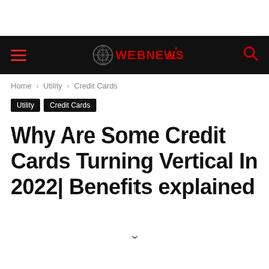WEBNEWS 21
Home › Utility › Credit Cards
Utility  Credit Cards
Why Are Some Credit Cards Turning Vertical In 2022| Benefits explained